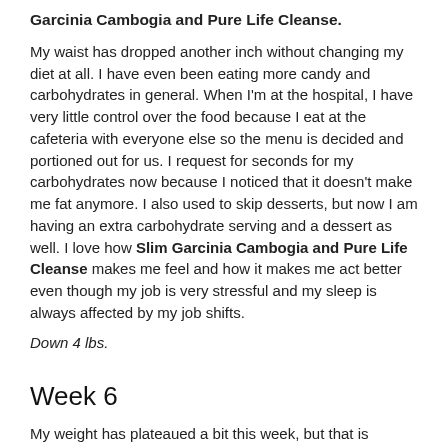Garcinia Cambogia and Pure Life Cleanse.
My waist has dropped another inch without changing my diet at all. I have even been eating more candy and carbohydrates in general. When I'm at the hospital, I have very little control over the food because I eat at the cafeteria with everyone else so the menu is decided and portioned out for us. I request for seconds for my carbohydrates now because I noticed that it doesn't make me fat anymore. I also used to skip desserts, but now I am having an extra carbohydrate serving and a dessert as well. I love how Slim Garcinia Cambogia and Pure Life Cleanse makes me feel and how it makes me act better even though my job is very stressful and my sleep is always affected by my job shifts.
Down 4 lbs.
Week 6
My weight has plateaued a bit this week, but that is perfectly fine with me. In fact I was not surprised because I know not to always trust the scale because the scale weight is prone to fluctuations. For example throughout the day I can gain 1-3 lbs. from food and water